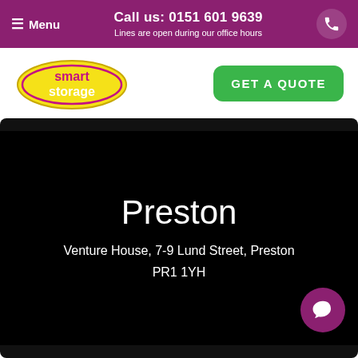Menu | Call us: 0151 601 9639 | Lines are open during our office hours
[Figure (logo): Smart Storage logo — yellow oval with pink/white text]
GET A QUOTE
Preston
Venture House, 7-9 Lund Street, Preston PR1 1YH